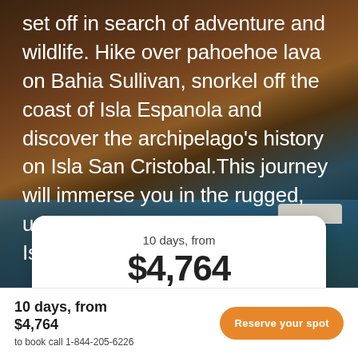[Figure (photo): Aerial background photo of Galapagos Islands showing volcanic rocky terrain in brown/orange tones, blue water, and a cruise ship visible in the distance]
set off in search of adventure and wildlife. Hike over pahoehoe lava on Bahia Sullivan, snorkel off the coast of Isla Espanola and discover the archipelago's history on Isla San Cristobal.This journey will immerse you in the rugged, unique, inimitable Galapagos Islands.
10 days, from
$4,764
per person
10 days, from
$4,764
to book call 1-844-205-6226
Reserve your spot